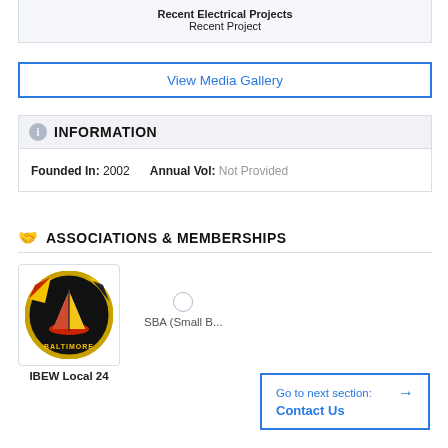Recent Electrical Projects
Recent Project
View Media Gallery
INFORMATION
Founded In: 2002    Annual Vol: Not Provided
ASSOCIATIONS & MEMBERSHIPS
[Figure (logo): IBEW Local 24 circular logo with sailing ship and Maryland flag colors on black background]
IBEW Local 24
[Figure (other): SBA (Small B... placeholder circle icon]
SBA (Small B...
Go to next section: Contact Us